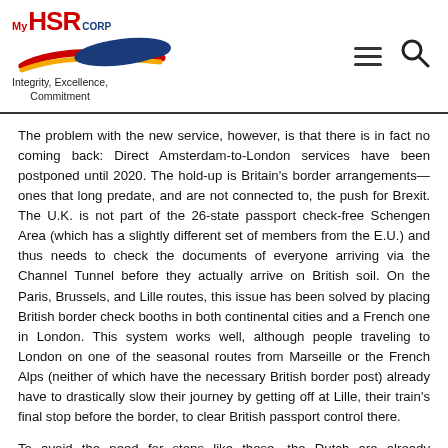MyHSR CORP — Integrity, Excellence, Commitment
The problem with the new service, however, is that there is in fact no coming back: Direct Amsterdam-to-London services have been postponed until 2020. The hold-up is Britain's border arrangements—ones that long predate, and are not connected to, the push for Brexit. The U.K. is not part of the 26-state passport check-free Schengen Area (which has a slightly different set of members from the E.U.) and thus needs to check the documents of everyone arriving via the Channel Tunnel before they actually arrive on British soil. On the Paris, Brussels, and Lille routes, this issue has been solved by placing British border check booths in both continental cities and a French one in London. This system works well, although people traveling to London on one of the seasonal routes from Marseille or the French Alps (neither of which have the necessary British border post) already have to drastically slow their journey by getting off at Lille, their train's final stop before the border, to clear British passport control there.
To avoid the need for stops like these, the Dutch are already constructing border facilities at Amsterdam's and Rotterdam's central stations. Until they (and the border system they will rely on) are ready, London-bound passengers will have to change at Brussels, meaning there will be no improvement on the current journey time of 4 hours 47 minutes. In the long run, trains may well take over from planes as the main connection between London and Amsterdam, just as they have to Paris and Brussels. Before that